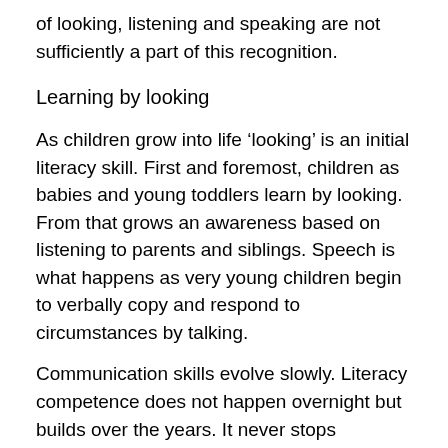of looking, listening and speaking are not sufficiently a part of this recognition.
Learning by looking
As children grow into life ‘looking’ is an initial literacy skill. First and foremost, children as babies and young toddlers learn by looking. From that grows an awareness based on listening to parents and siblings. Speech is what happens as very young children begin to verbally copy and respond to circumstances by talking.
Communication skills evolve slowly. Literacy competence does not happen overnight but builds over the years. It never stops developing.
When children arrive at school learning too often focuses far too prematurely on reading and writing. While both